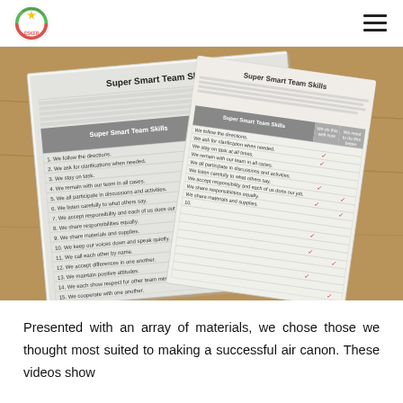Educate Together National School ESKER
[Figure (photo): Photograph of two printed 'Super Smart Team Skills' checklist worksheets placed on a wooden surface. Each worksheet has a table listing 20 team skills with checkboxes for 'We do this well now' and 'We need to do this better'. Several checkmarks in red are visible on the worksheets.]
Presented with an array of materials, we chose those we thought most suited to making a successful air canon. These videos show